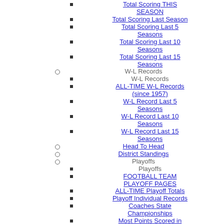Total Scoring THIS SEASON
Total Scoring Last Season
Total Scoring Last 5 Seasons
Total Scoring Last 10 Seasons
Total Scoring Last 15 Seasons
W-L Records (circle)
W-L Records
ALL-TIME W-L Records (since 1957)
W-L Record Last 5 Seasons
W-L Record Last 10 Seasons
W-L Record Last 15 Seasons
Head To Head
District Standings
Playoffs (circle)
Playoffs
FOOTBALL TEAM PLAYOFF PAGES
ALL-TIME Playoff Totals
Playoff Individual Records
Coaches State Championships
Most Points Scored in Playoff Game
Playoff Years w/o Championship
Consecutive Playoff Years ALL-TIME
Consecutive Playoff Years CURRENT
Consecutive Playoff Years ALL-TIME (by School)
Records (circle)
Records